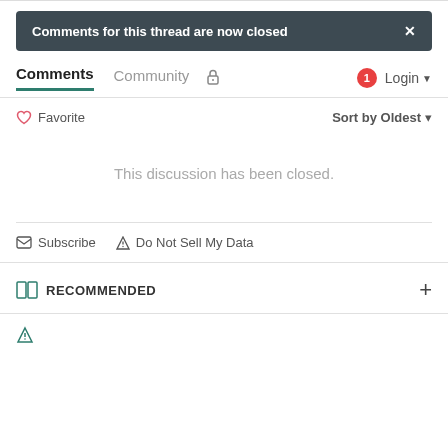Comments for this thread are now closed
Comments | Community | Login
Favorite | Sort by Oldest
This discussion has been closed.
Subscribe | Do Not Sell My Data
RECOMMENDED